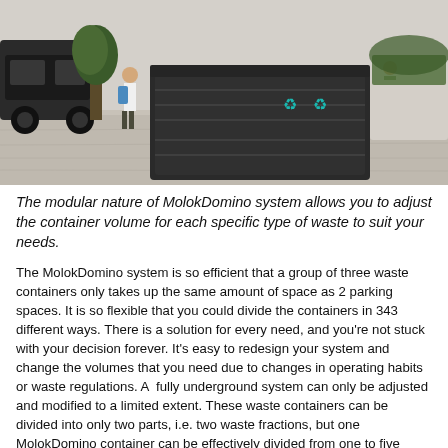[Figure (photo): Outdoor photo of MolokDomino waste containers on a paved plaza area. People walking by, cars parked in the background, planters with greenery visible. Dark grey large waste container units are prominently shown.]
The modular nature of MolokDomino system allows you to adjust the container volume for each specific type of waste to suit your needs.
The MolokDomino system is so efficient that a group of three waste containers only takes up the same amount of space as 2 parking spaces. It is so flexible that you could divide the containers in 343 different ways. There is a solution for every need, and you're not stuck with your decision forever. It's easy to redesign your system and change the volumes that you need due to changes in operating habits or waste regulations. A  fully underground system can only be adjusted and modified to a limited extent. These waste containers can be divided into only two parts, i.e. two waste fractions, but one MolokDomino container can be effectively divided from one to five waste fractions.